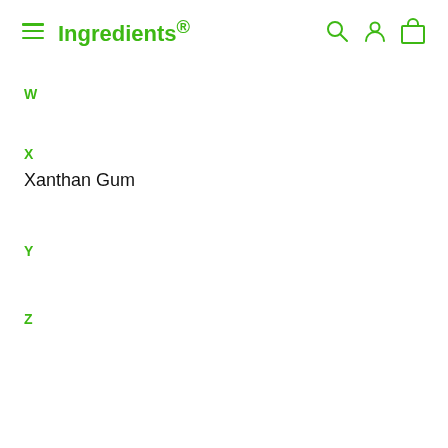Ingredients®
W
X
Xanthan Gum
Y
Z